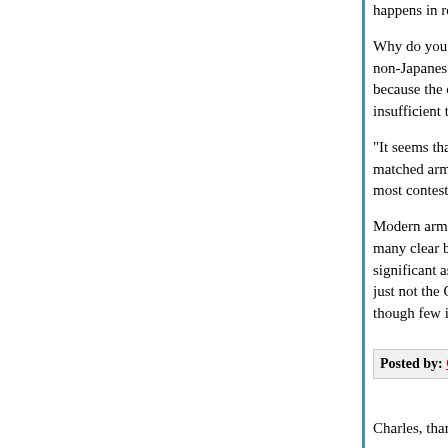happens in real life?"
Why do you think soldiers ever surrender? In a ho non-Japanese soldiers will, if they don't expect to because the circumstances have given them reas insufficient to win. That’s a realistic appraisal in m
"It seems that will might be significant in contests matched armies, but that since disparities in will w most contests are not evenly matched, will isn't a
Modern armies not all entering a battlefield at onc many clear battlefields any more in modern warfa significant as regards individual units, and individ just not the One Thing That Will Determine The O though few individuals running away tend to win.
Posted by: Gary Farber | June 03, 2007 at 04:38 PM
Charles, thanks for this.
I’d like to make a comment on the "Bush doctrine" comment:
As long as we are there to fight for our goal, we a